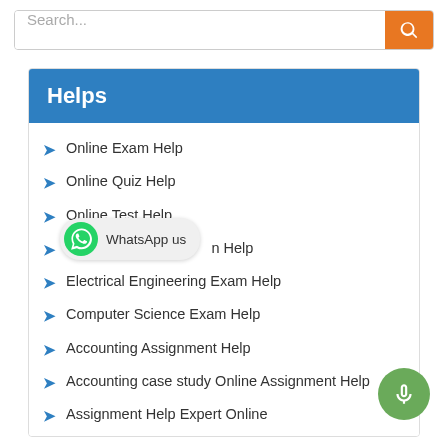[Figure (screenshot): Search bar with orange search button]
Helps
Online Exam Help
Online Quiz Help
Online Test Help
Civil Engineering Exam Help
Electrical Engineering Exam Help
Computer Science Exam Help
Accounting Assignment Help
Accounting case study Online Assignment Help
Assignment Help Expert Online